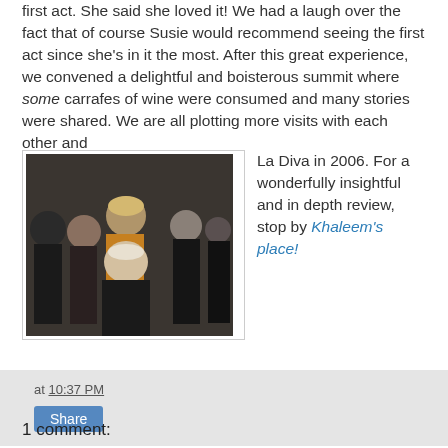first act. She said she loved it! We had a laugh over the fact that of course Susie would recommend seeing the first act since she's in it the most. After this great experience, we convened a delightful and boisterous summit where some carrafes of wine were consumed and many stories were shared. We are all plotting more visits with each other and La Diva in 2006. For a wonderfully insightful and in depth review, stop by Khaleem's place!
[Figure (photo): Group photo of five women posing together indoors, wearing dark clothing]
at 10:37 PM
Share
1 comment: